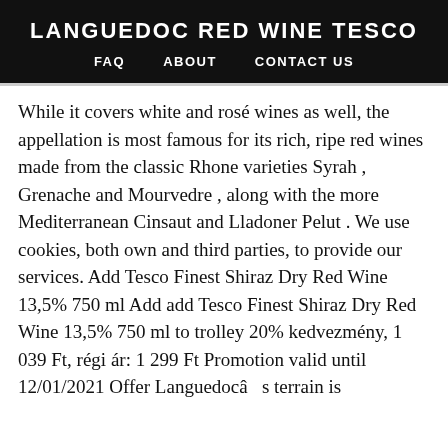LANGUEDOC RED WINE TESCO
FAQ   ABOUT   CONTACT US
While it covers white and rosé wines as well, the appellation is most famous for its rich, ripe red wines made from the classic Rhone varieties Syrah , Grenache and Mourvedre , along with the more Mediterranean Cinsaut and Lladoner Pelut . We use cookies, both own and third parties, to provide our services. Add Tesco Finest Shiraz Dry Red Wine 13,5% 750 ml Add add Tesco Finest Shiraz Dry Red Wine 13,5% 750 ml to trolley 20% kedvezmény, 1 039 Ft, régi ár: 1 299 Ft Promotion valid until 12/01/2021 Offer Languedocâs terrain is